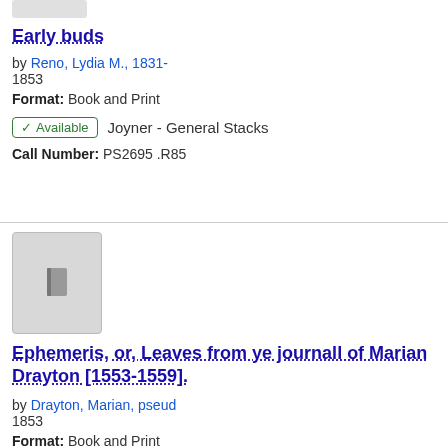[Figure (other): Partial book thumbnail at top of page (cropped gray rectangle)]
Early buds
by Reno, Lydia M., 1831-
1853
Format: Book and Print
✓ Available   Joyner - General Stacks
Call Number: PS2695 .R85
[Figure (other): Gray placeholder book thumbnail with book icon]
Ephemeris, or, Leaves from ye journall of Marian Drayton [1553-1559].
by Drayton, Marian, pseud
1853
Format: Book and Print
✓ Available   Joyner - General Stacks